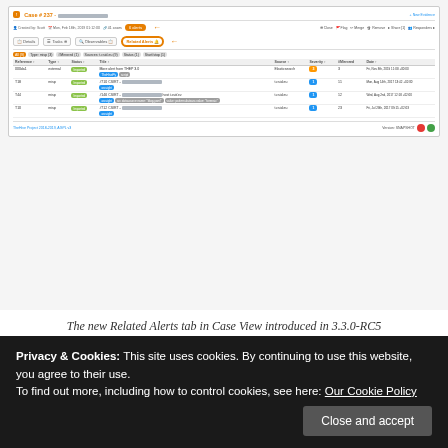[Figure (screenshot): Screenshot of TheHive Project Case View showing the Related Alerts tab introduced in version 3.3.0-RC5. Shows a case interface with tabs including Details, Tasks, Observables, and Related Alerts (highlighted with orange border and arrow). A table lists related alerts with columns: Reference, Type, Status, Title, Source, Severity, #Mirrored, Date. Footer shows TheHive Project 2018-2019 AGPL v3 and Version: SNAPSHOT.]
The new Related Alerts tab in Case View introduced in 3.3.0-RC5
Fixed Issues
#899: fix a crashing issue encountered with Firefox
Privacy & Cookies: This site uses cookies. By continuing to use this website, you agree to their use. To find out more, including how to control cookies, see here: Our Cookie Policy
Close and accept